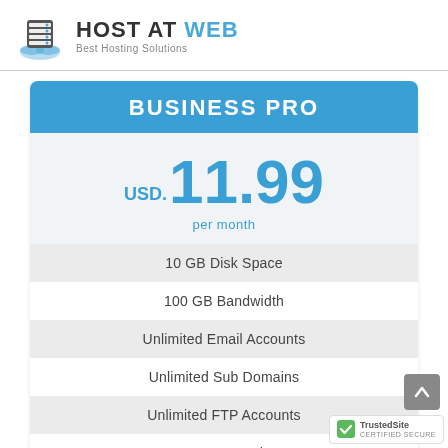[Figure (logo): Host At Web logo with server icon and cloud, text says HOST AT WEB, Best Hosting Solutions]
BUSINESS PRO
USD. 11.99 per month
10 GB Disk Space
100 GB Bandwidth
Unlimited Email Accounts
Unlimited Sub Domains
Unlimited FTP Accounts
100 MySQL Databases
[Figure (logo): TrustedSite Certified Secure badge]